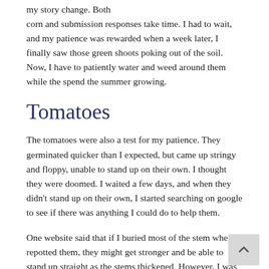my story change. Both corn and submission responses take time. I had to wait, and my patience was rewarded when a week later, I finally saw those green shoots poking out of the soil. Now, I have to patiently water and weed around them while the spend the summer growing.
Tomatoes
The tomatoes were also a test for my patience. They germinated quicker than I expected, but came up stringy and floppy, unable to stand up on their own. I thought they were doomed. I waited a few days, and when they didn't stand up on their own, I started searching on google to see if there was anything I could do to help them.
One website said that if I buried most of the stem when I repotted them, they might get stronger and be able to stand up straight as the stems thickened. However, I was afraid the stems were to fragile and would just snap if I tried to transplant the tomatoes.
I did my least favorite task: I waited.
I let them grow like floppy vines. They didn't die. The stems got thicker and they grew a second pair of leaves. I moved them to